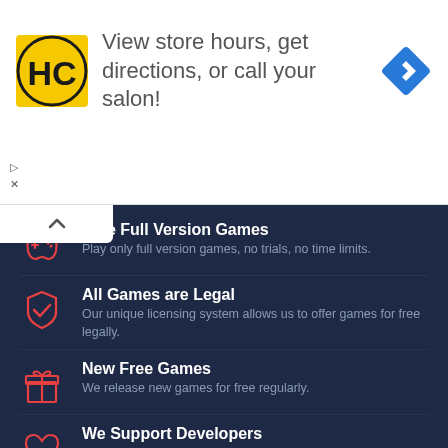[Figure (advertisement): Ad banner with HC logo, text 'View store hours, get directions, or call your salon!', and a blue diamond direction arrow icon]
[Figure (infographic): Dark navy background feature list with icons: Free Full Version Games (gamepad icon), All Games are Legal (shield icon), New Free Games (gift icon), We Support Developers (heart icon)]
Free Full Version Games — Play only full version games, no trials, no time limits.
All Games are Legal — Our unique licensing system allows us to offer games for free legally.
New Free Games — We release new games for free regularly.
We Support Developers — We help many independent developers to create more and better games.